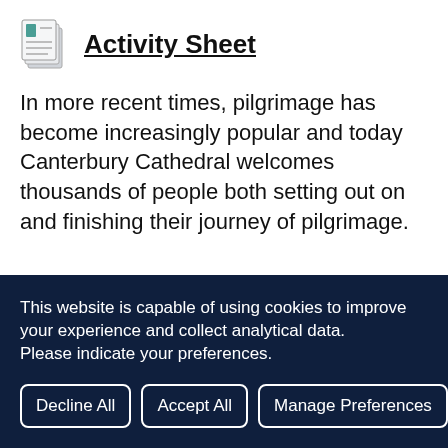Activity Sheet
In more recent times, pilgrimage has become increasingly popular and today Canterbury Cathedral welcomes thousands of people both setting out on and finishing their journey of pilgrimage.
This website is capable of using cookies to improve your experience and collect analytical data. Please indicate your preferences.
Decline All
Accept All
Manage Preferences